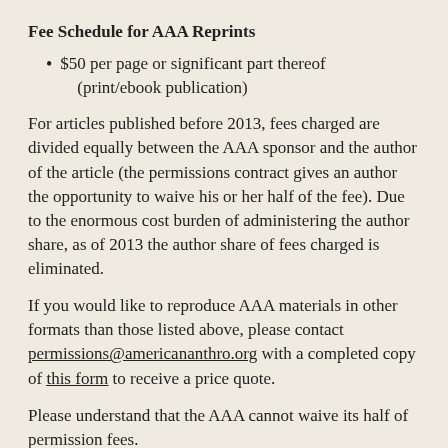Fee Schedule for AAA Reprints
$50 per page or significant part thereof (print/ebook publication)
For articles published before 2013, fees charged are divided equally between the AAA sponsor and the author of the article (the permissions contract gives an author the opportunity to waive his or her half of the fee). Due to the enormous cost burden of administering the author share, as of 2013 the author share of fees charged is eliminated.
If you would like to reproduce AAA materials in other formats than those listed above, please contact permissions@americananthro.org with a completed copy of this form to receive a price quote.
Please understand that the AAA cannot waive its half of permission fees.
The AAA no longer handles permission requests for The American Folklore Society, or its Journal of